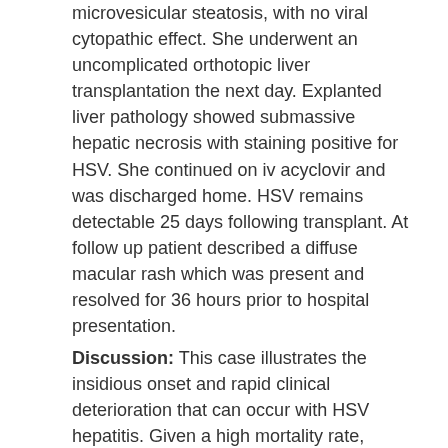microvesicular steatosis, with no viral cytopathic effect. She underwent an uncomplicated orthotopic liver transplantation the next day. Explanted liver pathology showed submassive hepatic necrosis with staining positive for HSV. She continued on iv acyclovir and was discharged home. HSV remains detectable 25 days following transplant. At follow up patient described a diffuse macular rash which was present and resolved for 36 hours prior to hospital presentation.
Discussion: This case illustrates the insidious onset and rapid clinical deterioration that can occur with HSV hepatitis. Given a high mortality rate, empiric initiation of IV acyclovir should be considered in patients with quantifiable HSV viremia and a viral prodrome. Our patient's non-characteristic rash resolved prior to evaluation, masking clinical suspicion for HSV hepatitis in the setting of acetaminophen and alcohol use. Patients may have clinical and histologic features